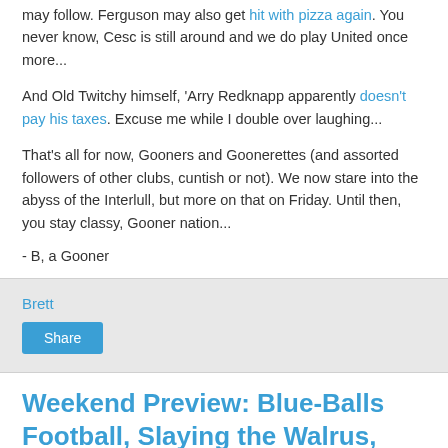may follow. Ferguson may also get hit with pizza again. You never know, Cesc is still around and we do play United once more...
And Old Twitchy himself, 'Arry Redknapp apparently doesn't pay his taxes. Excuse me while I double over laughing...
That's all for now, Gooners and Goonerettes (and assorted followers of other clubs, cuntish or not). We now stare into the abyss of the Interlull, but more on that on Friday. Until then, you stay classy, Gooner nation...
- B, a Gooner
Brett
Share
Weekend Preview: Blue-Balls Football, Slaying the Walrus, and Sirallix's